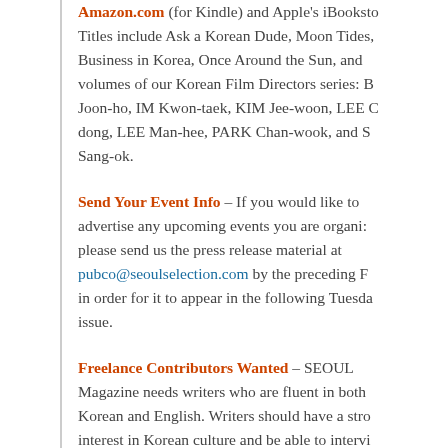Amazon.com (for Kindle) and Apple's iBookstore. Titles include Ask a Korean Dude, Moon Tides, Business in Korea, Once Around the Sun, and volumes of our Korean Film Directors series: B Joon-ho, IM Kwon-taek, KIM Jee-woon, LEE C dong, LEE Man-hee, PARK Chan-wook, and S Sang-ok.
Send Your Event Info – If you would like to advertise any upcoming events you are organizing, please send us the press release material at pubco@seoulselection.com by the preceding Friday in order for it to appear in the following Tuesday issue.
Freelance Contributors Wanted – SEOUL Magazine needs writers who are fluent in both Korean and English. Writers should have a strong interest in Korean culture and be able to interview Koreans. Send your resume and writing sample to english@seoulselection.com